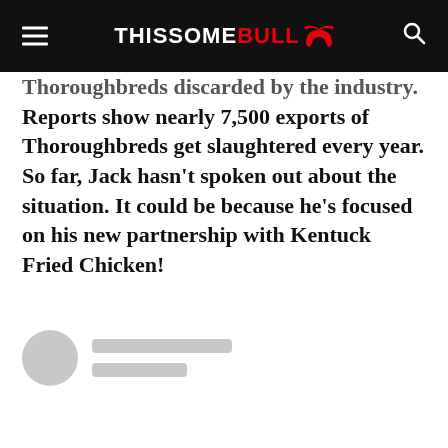THISSOME BULL
Thoroughbreds discarded by the industry. Reports show nearly 7,500 exports of Thoroughbreds get slaughtered every year. So far, Jack hasn’t spoken out about the situation. It could be because he’s focused on his new partnership with Kentuck Fried Chicken!
[Figure (other): Author avatar placeholder (gray circle) with two gray placeholder lines for author name and subtitle]